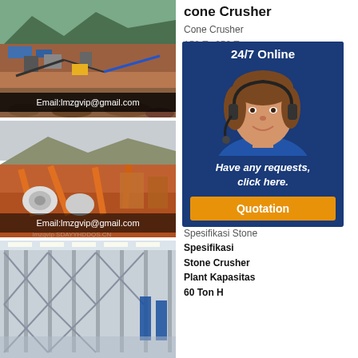[Figure (photo): Quarry/mining site with conveyors and heavy equipment, blue tarps visible on hillside. Email:lmzgvip@gmail.com overlay.]
[Figure (photo): Open-pit mining/stone crushing plant with orange conveyors and machinery. Email:lmzgvip@gmail.com overlay.]
[Figure (photo): Large industrial factory interior with steel framework and blue banners.]
cone Crusher
Cone Crusher
150 To 250 Tons
[Figure (infographic): 24/7 Online customer service popup with woman wearing headset, 'Have any requests, click here.' text and Quotation button.]
crusher ton jam
Meeting del vino.
Spesifikasi Stone
Spesifikasi
Stone Crusher
Plant Kapasitas
60 Ton H